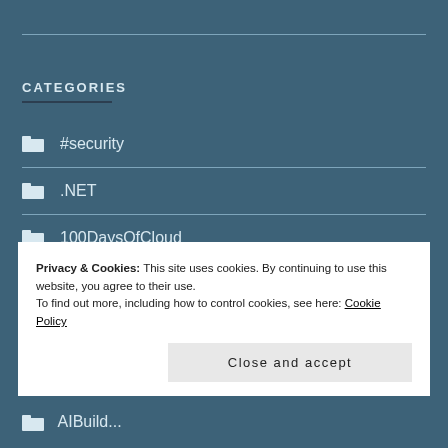CATEGORIES
#security
.NET
100DaysOfCloud
Privacy & Cookies: This site uses cookies. By continuing to use this website, you agree to their use.
To find out more, including how to control cookies, see here: Cookie Policy
Close and accept
AIBuild...